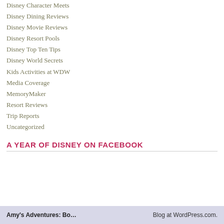Disney Character Meets
Disney Dining Reviews
Disney Movie Reviews
Disney Resort Pools
Disney Top Ten Tips
Disney World Secrets
Kids Activities at WDW
Media Coverage
MemoryMaker
Resort Reviews
Trip Reports
Uncategorized
A YEAR OF DISNEY ON FACEBOOK
Amy's Adventures: Bo…   Blog at WordPress.com.